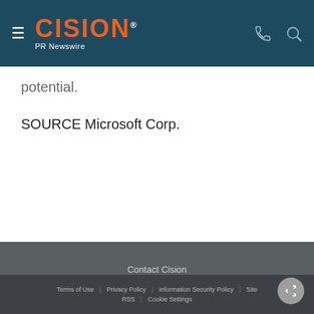CISION PR Newswire
potential.
SOURCE Microsoft Corp.
Contact Cision
Products
About
My Services
Cision Distribution Helpline
888-776-0942
Terms of Use | Privacy Policy | Information Security Policy | Site | RSS | Cookie Settings